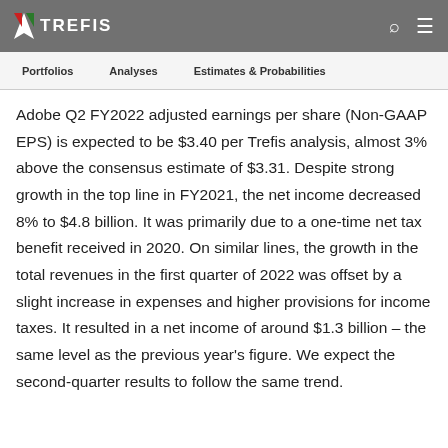TREFIS
Portfolios   Analyses   Estimates & Probabilities
Adobe Q2 FY2022 adjusted earnings per share (Non-GAAP EPS) is expected to be $3.40 per Trefis analysis, almost 3% above the consensus estimate of $3.31. Despite strong growth in the top line in FY2021, the net income decreased 8% to $4.8 billion. It was primarily due to a one-time net tax benefit received in 2020. On similar lines, the growth in the total revenues in the first quarter of 2022 was offset by a slight increase in expenses and higher provisions for income taxes. It resulted in a net income of around $1.3 billion – the same level as the previous year's figure. We expect the second-quarter results to follow the same trend.